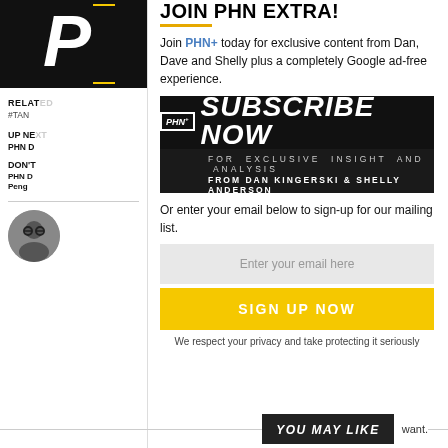[Figure (logo): PHN logo - black background with white italic letter P]
RELATED
#TAN
UP NEXT
PHN D
DON'T
PHN D
Peng
[Figure (photo): Circular avatar photo of person with glasses, black and white]
JOIN PHN EXTRA!
Join PHN+ today for exclusive content from Dan, Dave and Shelly plus a completely Google ad-free experience.
[Figure (illustration): PHN+ Subscribe Now banner - black background with large white italic text SUBSCRIBE NOW. Bottom section reads: FOR EXCLUSIVE INSIGHT AND ANALYSIS FROM DAN KINGERSKI & SHELLY ANDERSON]
Or enter your email below to sign-up for our mailing list.
Enter your email here
SIGN UP NOW
We respect your privacy and take protecting it seriously
YOU MAY LIKE